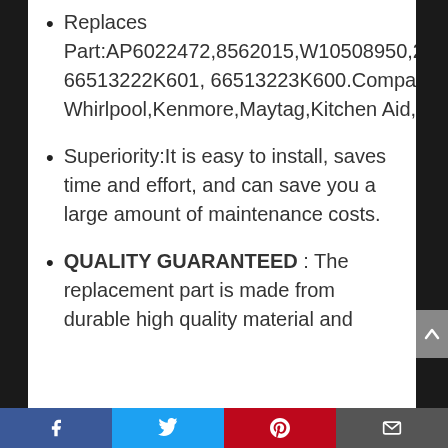Replaces Part:AP6022472,8562015,W10508950,2684662,PS11755805,66513222K600, 66513222K601, 66513223K600.Compatible with Whirlpool,Kenmore,Maytag,Kitchen Aid,Ikea,Amana.
Superiority:It is easy to install, saves time and effort, and can save you a large amount of maintenance costs.
QUALITY GUARANTEED : The replacement part is made from durable high quality material and